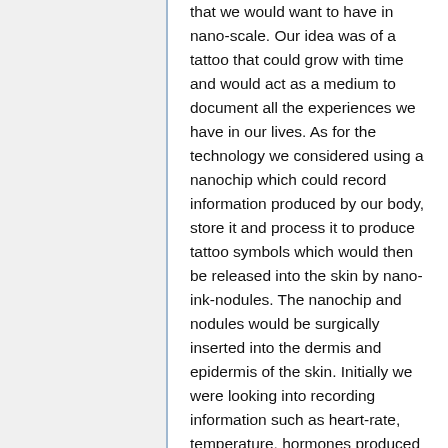that we would want to have in nano-scale. Our idea was of a tattoo that could grow with time and would act as a medium to document all the experiences we have in our lives. As for the technology we considered using a nanochip which could record information produced by our body, store it and process it to produce tattoo symbols which would then be released into the skin by nano-ink-nodules. The nanochip and nodules would be surgically inserted into the dermis and epidermis of the skin. Initially we were looking into recording information such as heart-rate, temperature, hormones produced etc but we found that while heart-rate and temperature are reliable signals for certain emotions and experiences, they are not enough to confidently say that a person is feeling a particular...